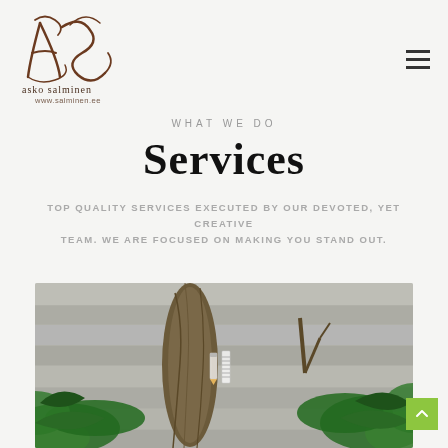[Figure (logo): Asko Salminen handwritten logo with stylized letters and text 'asko salminen www.salminen.ee']
WHAT WE DO
Services
TOP QUALITY SERVICES EXECUTED BY OUR DEVOTED, YET CREATIVE TEAM. WE ARE FOCUSED ON MAKING YOU STAND OUT.
[Figure (photo): A nature photograph showing tree trunks and green tropical leaves against a weathered grey wood background, with a small pencil and ruler icon overlay in the center.]